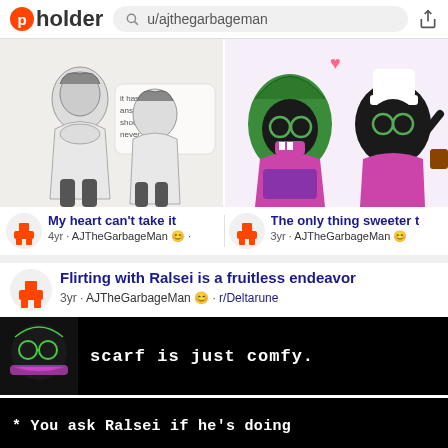pholder  u/ajthegarbageman
[Figure (screenshot): Two-panel image grid: left panel shows black and white anime-style drawing of characters, right panel shows colorful cartoon characters (green witch and black cat chef)]
My heart can't take it
4yr · AJTheGarbageMan ·
The only thing sweeter t
3yr · AJTheGarbageMan ·
Flirting with Ralsei is a fruitless endeavor
3yr · AJTheGarbageMan · r/Deltarune
[Figure (screenshot): Deltarune game screenshot showing character saying 'scarf is just comfy.']
[Figure (screenshot): Deltarune game screenshot with text '* You ask Ralsei if he's doing']
[Figure (screenshot): Deltarune game screenshot with Ralsei saying '* They're simple but I think they're charming']